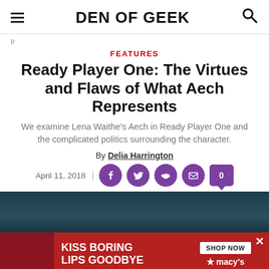DEN OF GEEK
p
FEATURES
Ready Player One: The Virtues and Flaws of What Aech Represents
We examine Lena Waithe's Aech in Ready Player One and the complicated politics surrounding the character.
By Delia Harrington
April 11, 2018
[Figure (screenshot): Dark teal hero image background]
[Figure (infographic): Advertisement banner: KISS BORING LIPS GOODBYE with SHOP NOW and macy's branding, featuring model photo]